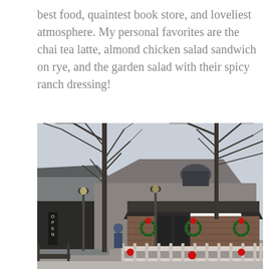best food, quaintest book store, and loveliest atmosphere. My personal favorites are the chai tea latte, almond chicken salad sandwich on rye, and the garden salad with their spicy ranch dressing!
[Figure (photo): Exterior photo of Town House Cafe in winter. A building with brick facade, arched window, and a sign reading 'TOWN HOUSE CAFE'. Bare trees in the foreground, red holiday wreaths decorating the entrance. An 'OPEN' sign visible on the left side. Overcast winter sky.]